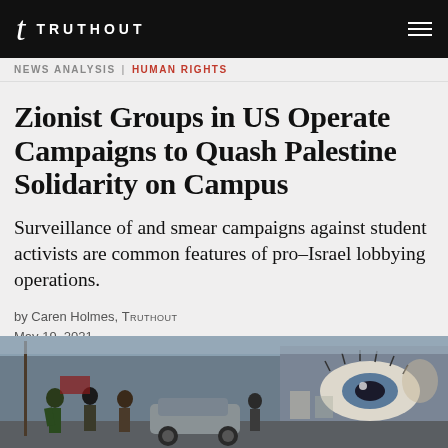t TRUTHOUT
NEWS ANALYSIS | HUMAN RIGHTS
Zionist Groups in US Operate Campaigns to Quash Palestine Solidarity on Campus
Surveillance of and smear campaigns against student activists are common features of pro-Israel lobbying operations.
by Caren Holmes, TRUTHOUT
May 19, 2021
[Figure (photo): Street scene with people walking, a car, and a mural featuring a large eye painted on a wall in the background]